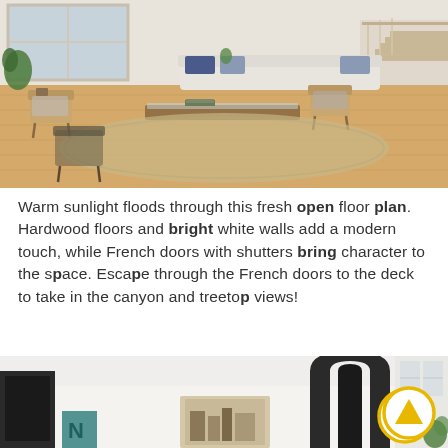[Figure (photo): Interior photo of a bright open-plan living room with hardwood floors, white sofa, mid-century wooden chairs, glass coffee table, jute rug, large windows, and a staircase in the background.]
Warm sunlight floods through this fresh open floor plan. Hardwood floors and bright white walls add a modern touch, while French doors with shutters bring character to the space. Escape through the French doors to the deck to take in the canyon and treetop views!
[Figure (photo): Interior photo of a bright white modern kitchen and dining area with high ceilings, an arched black-framed door, decorative items, and plants visible. A yellow circular arrow-up icon overlays the lower right of the image.]